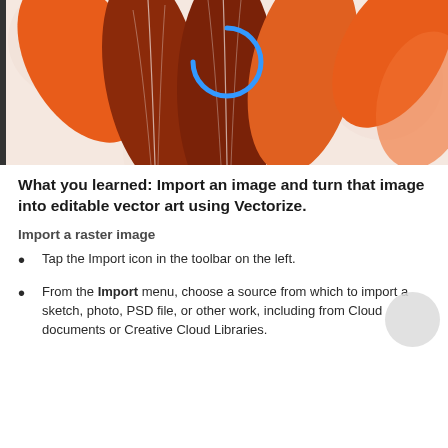[Figure (illustration): Decorative floral illustration with orange and dark red petals on a light pink background, with a blue loading/cursor arc symbol in the center. Left border is a dark vertical line.]
What you learned: Import an image and turn that image into editable vector art using Vectorize.
Import a raster image
Tap the Import icon in the toolbar on the left.
From the Import menu, choose a source from which to import a sketch, photo, PSD file, or other work, including from Cloud documents or Creative Cloud Libraries.